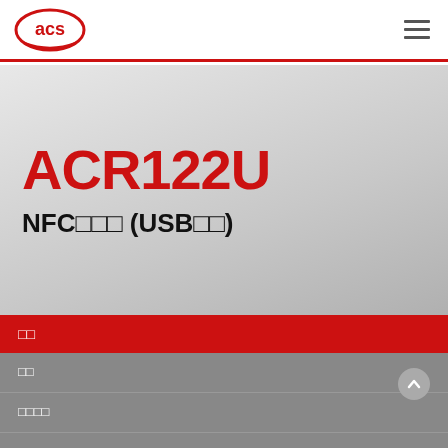ACS logo and navigation menu
ACR122U
NFC□□□ (USB□□)
| □□ |
| --- |
| □□ |
| □□□□ |
| □□□□ |
| □□ |